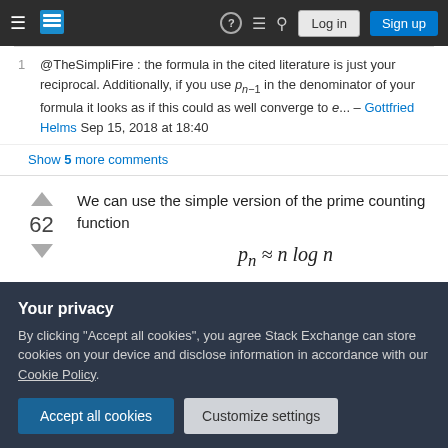Stack Exchange navigation bar with Log in and Sign up buttons
@TheSimpliFire : the formula in the cited literature is just your reciprocal. Additionally, if you use p_{n-1} in the denominator of your formula it looks as if this could as well converge to e... – Gottfried Helms Sep 15, 2018 at 18:40
Show 5 more comments
We can use the simple version of the prime counting function
Your privacy
By clicking "Accept all cookies", you agree Stack Exchange can store cookies on your device and disclose information in accordance with our Cookie Policy.
Accept all cookies
Customize settings